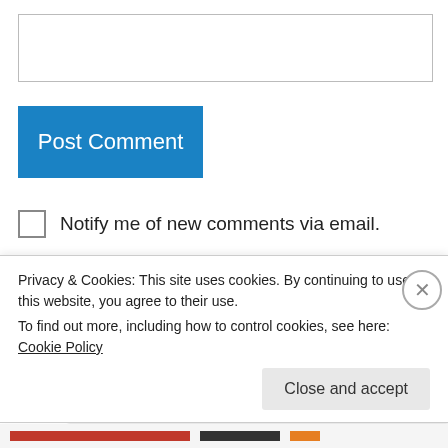[Figure (screenshot): Text input box / comment textarea]
[Figure (screenshot): Blue 'Post Comment' button]
Notify me of new comments via email.
Notify me of new posts via email.
Heather on February 13, 2017 at 8:28 am
Privacy & Cookies: This site uses cookies. By continuing to use this website, you agree to their use.
To find out more, including how to control cookies, see here: Cookie Policy
Close and accept